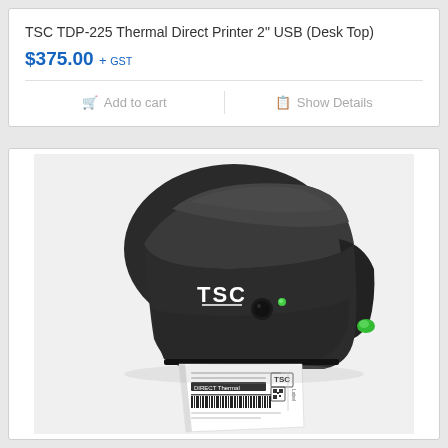TSC TDP-225 Thermal Direct Printer 2" USB (Desk Top)
$375.00 + GST
Add to cart
Show Details
[Figure (photo): TSC TDP-225 thermal direct printer in dark grey/black color, showing the front and right side of the unit with a printed label coming out of the front. The printer has a TSC logo on the front, a circular button, and a green LED indicator on the right side. A sample shipping label with barcode is partially ejected from the front.]